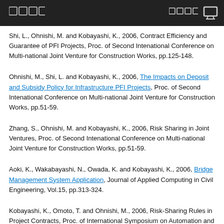□□□□   □□□□  □
Shi, L., Ohnishi, M. and Kobayashi, K., 2006, Contract Efficiency and Guarantee of PFI Projects, Proc. of Second Intenational Conference on Multi-national Joint Venture for Construction Works, pp.125-148.
Ohnishi, M., Shi, L. and Kobayashi, K., 2006, The Impacts on Deposit and Subsidy Policy for Infrastructure PFI Projects, Proc. of Second Intenational Conference on Multi-national Joint Venture for Construction Works, pp.51-59.
Zhang, S., Ohnishi, M. and Kobayashi, K., 2006, Risk Sharing in Joint Ventures, Proc. of Second Intenational Conference on Multi-national Joint Venture for Construction Works, pp.51-59.
Aoki, K., Wakabayashi, N., Owada, K. and Kobayashi, K., 2006, Bridge Management System Application, Journal of Applied Computing in Civil Engineering, Vol.15, pp.313-324.
Kobayashi, K., Omoto, T. and Ohnishi, M., 2006, Risk-Sharing Rules in Project Contracts, Proc. of International Symposium on Automation and Robotics in Construction 2006, B-5, (CD-ROM)